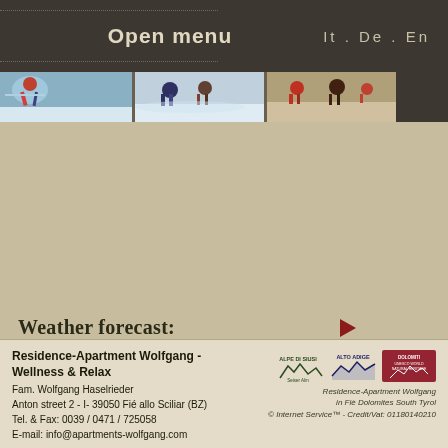Open menu   It . De . En
[Figure (photo): Three photo segments showing winter scenes with people in snow activities]
Weather forecast:
[Figure (infographic): Weather forecast icons for su (sunny/cloudy), mo (cloudy), tu (sunny) days in a beige box]
Residence-Apartment Wolfgang - Wellness & Relax
Fam. Wolfgang Haselrieder
Anton street 2 - I- 39050 Fié allo Sciliar (BZ)
Tel. & Fax: 0039 / 0471 / 725058
E-mail: info@apartments-wolfgang.com
[Figure (logo): Alpe di Siusi, Alto Adige, and Dolomiti UNESCO logos]
Residence-Apartment Wolfgang in Fiè Dolomites South Tyrol © Internet Service™ - Credit/Vat: 01180140210